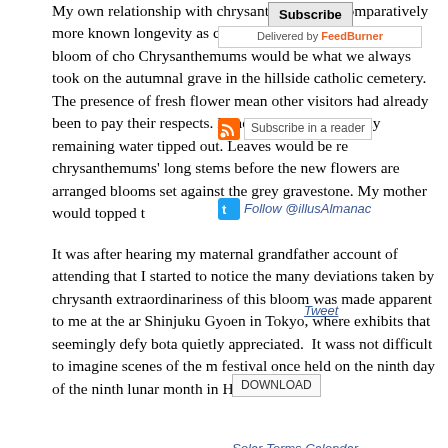My own relationship with chrysanthemums is comparatively more recent, known longevity as cut-flowers lends itself to be the bloom of choice. Chrysanthemums would be what we always took on the autumnal visits to the grave in the hillside catholic cemetery. The presence of fresh flowers would mean other visitors had already been to pay their respects. Dead and dying blooms removed, and any remaining water tipped out. Leaves would be removed from chrysanthemums' long stems before the new flowers are arranged to show the white blooms set against the grey gravestone. My mother would topped the
It was after hearing my maternal grandfather account of attending that I started to notice the many deviations taken by chrysanthemums. The extraordinariness of this bloom was made apparent to me at the annual exhibition at Shinjuku Gyoen in Tokyo, where exhibits that seemingly defy botany can be quietly appreciated. It wass not difficult to imagine scenes of the magnificent festival once held on the ninth day of the ninth lunar month in Hei